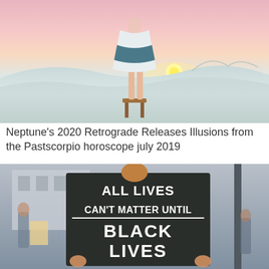[Figure (photo): Person standing on a wooden stool in a blue and white striped skirt, viewed from behind, overlooking a surreal desert landscape with pink and peach sunset sky, waves of snow-white sand, and distant mountains.]
Neptune's 2020 Retrograde Releases Illusions from the Pastscorpio horoscope july 2019
[Figure (photo): Protest scene showing a person holding a dark chalkboard sign reading 'ALL LIVES CAN'T MATTER UNTIL BLACK LIVES MATTER', surrounded by other protesters.]